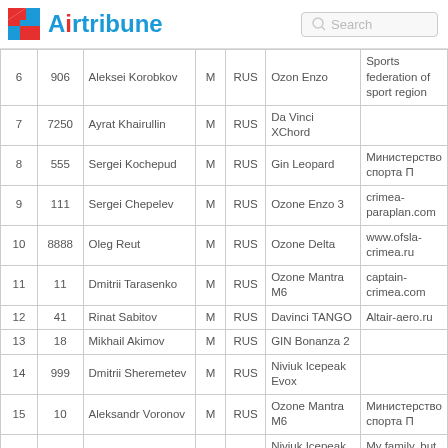Airtribune | Search
| # | ID | Name | Sex | Nat | Glider | Sponsor |
| --- | --- | --- | --- | --- | --- | --- |
| 6 | 906 | Aleksei Korobkov | M | RUS | Ozon Enzo | Sports federation of sport region |
| 7 | 7250 | Ayrat Khairullin | M | RUS | Da Vinci XChord |  |
| 8 | 555 | Sergei Kochepud | M | RUS | Gin Leopard | Министерство спорта П |
| 9 | 111 | Sergei Chepelev | M | RUS | Ozone Enzo 3 | crimea-paraplan.com |
| 10 | 8888 | Oleg Reut | M | RUS | Ozone Delta | www.ofsla-crimea.ru |
| 11 | 11 | Dmitrii Tarasenko | M | RUS | Ozone Mantra M6 | captain-crimea.com |
| 12 | 41 | Rinat Sabitov | M | RUS | Davinci TANGO | Altair-aero.ru |
| 13 | 18 | Mikhail Akimov | M | RUS | GIN Bonanza 2 |  |
| 14 | 999 | Dmitrii Sheremetev | M | RUS | Niviuk Icepeak Evox |  |
| 15 | 10 | Aleksandr Voronov | M | RUS | Ozone Mantra M6 | Министерство спорта П |
| 16 | 1000 | Andrey Shalygin | M | RUS | Niviuk Icepeak X-ONE | My family, but they do no |
| 17 | 13 | Konstantin Kalinin | M | RUS | Niviuk X-One |  |
| 18 | 3 | Oleg Klyuchnikov | M | RUS | Gin Explorer | Altair-Aero.ru |
| 19 | 161 | Aleksandr Strakhov | M | RUS | SOL LT-1 | no |
| 20 | 3691 | Valentin Fedenko | M | RUS | OZONE DELTA 4 |  |